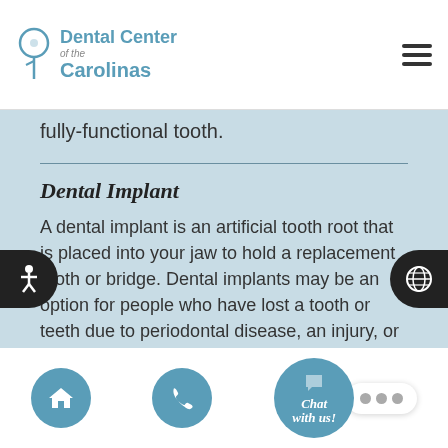Dental Center of the Carolinas
fully-functional tooth.
Dental Implant
A dental implant is an artificial tooth root that is placed into your jaw to hold a replacement tooth or bridge. Dental implants may be an option for people who have lost a tooth or teeth due to periodontal disease, an injury, or some other reason.
Endosteal (endosseous)
Endosteal is a type of dental implant that a
Home | Phone | Chat with us!